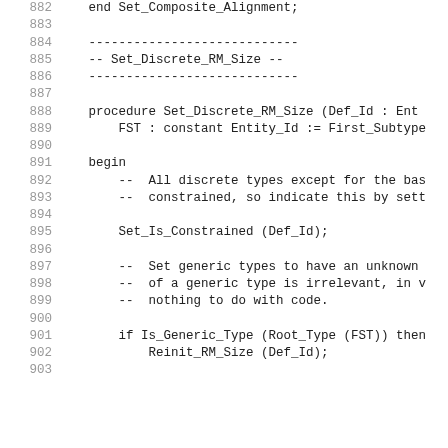882   end Set_Composite_Alignment;
883
884   ----------------------------
885   -- Set_Discrete_RM_Size --
886   ----------------------------
887
888   procedure Set_Discrete_RM_Size (Def_Id : Ent
889       FST : constant Entity_Id := First_Subtype
890
891   begin
892       --  All discrete types except for the bas
893       --  constrained, so indicate this by sett
894
895       Set_Is_Constrained (Def_Id);
896
897       --  Set generic types to have an unknown
898       --  of a generic type is irrelevant, in v
899       --  nothing to do with code.
900
901       if Is_Generic_Type (Root_Type (FST)) then
902           Reinit_RM_Size (Def_Id);
903